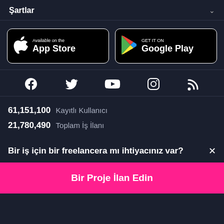Şartlar
[Figure (logo): App Store and Google Play download buttons]
[Figure (infographic): Social media icons row: Facebook, Twitter, YouTube, Instagram, RSS]
61,151,100  Kayıtlı Kullanıcı
21,780,490  Toplam İş İlanı
Bir iş için bir freelancera mı ihtiyacınız var?  ×
Bir Proje İlan Edin